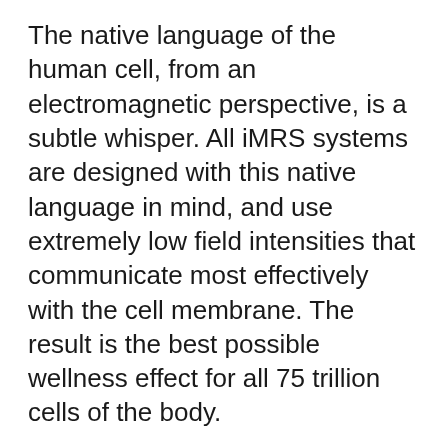The native language of the human cell, from an electromagnetic perspective, is a subtle whisper. All iMRS systems are designed with this native language in mind, and use extremely low field intensities that communicate most effectively with the cell membrane. The result is the best possible wellness effect for all 75 trillion cells of the body.
Frequency
Just as your cells can be signaled to perform new and different functions by the electromagnetic world, let...